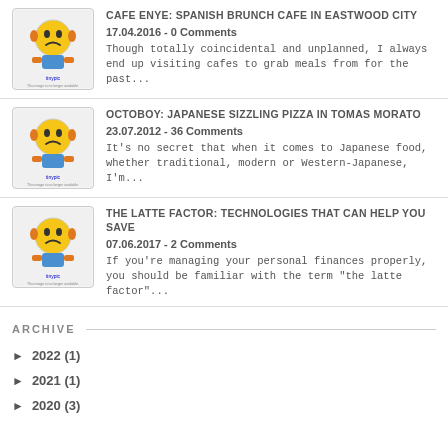CAFE ENYE: SPANISH BRUNCH CAFE IN EASTWOOD CITY
17.04.2016 - 0 Comments
Though totally coincidental and unplanned, I always end up visiting cafes to grab meals from for the past...
OCTOBOY: JAPANESE SIZZLING PIZZA IN TOMAS MORATO
23.07.2012 - 36 Comments
It's no secret that when it comes to Japanese food, whether traditional, modern or Western-Japanese, I'm...
THE LATTE FACTOR: TECHNOLOGIES THAT CAN HELP YOU SAVE
07.06.2017 - 2 Comments
If you're managing your personal finances properly, you should be familiar with the term "the latte factor"...
ARCHIVE
► 2022 (1)
► 2021 (1)
► 2020 (3)